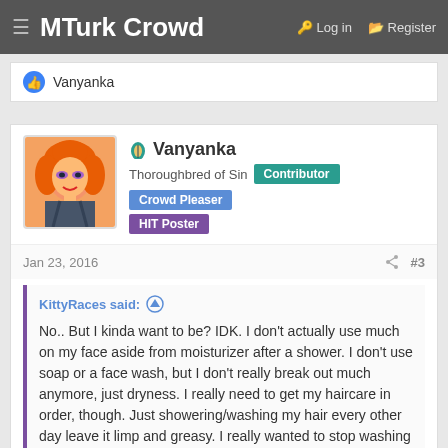MTurk Crowd  Log in  Register
👍 Vanyanka
Vanyanka
Thoroughbred of Sin  Contributor  Crowd Pleaser
HIT Poster
Jan 23, 2016  #3
KittyRaces said:
No.. But I kinda want to be? IDK. I don't actually use much on my face aside from moisturizer after a shower. I don't use soap or a face wash, but I don't really break out much anymore, just dryness. I really need to get my haircare in order, though. Just showering/washing my hair every other day leave it limp and greasy. I really wanted to stop washing my hair every day, but, as it is, the back of my head starts to clump up/get knott…
Click to expand...